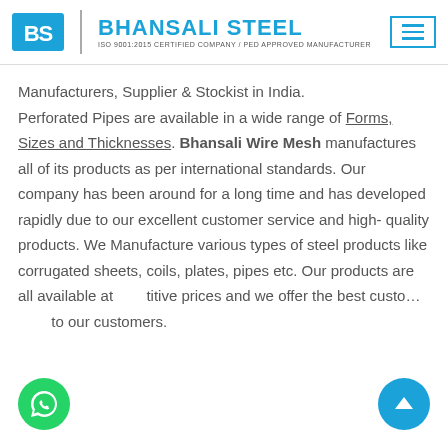[Figure (logo): Bhansali Steel company logo with BS icon, company name in blue, and ISO 9001:2015 certified tagline]
Manufacturers, Supplier & Stockist in India. Perforated Pipes are available in a wide range of Forms, Sizes and Thicknesses. Bhansali Wire Mesh manufactures all of its products as per international standards. Our company has been around for a long time and has developed rapidly due to our excellent customer service and high-quality products. We Manufacture various types of steel products like corrugated sheets, coils, plates, pipes etc. Our products are all available at competitive prices and we offer the best customer service to our customers.